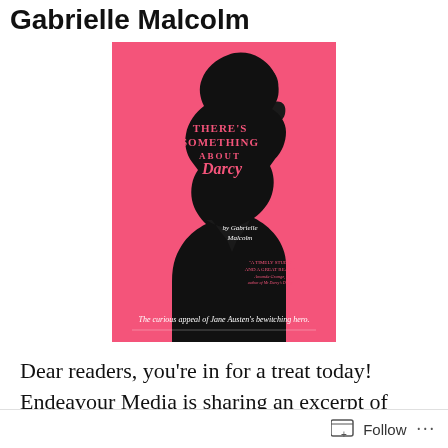Gabrielle Malcolm
[Figure (illustration): Book cover of 'There's Something About Darcy' by Gabrielle Malcolm. Hot pink background with a black silhouette profile of a Regency-era man. Title text reads: THERE'S SOMETHING ABOUT DARCY by Gabrielle Malcolm. Quote: 'A timely study and a great read.' Amanda Grange, author of Mr Darcy's Diary. Subtitle: The curious appeal of Jane Austen's bewitching hero.]
Dear readers, you're in for a treat today! Endeavour Media is sharing an excerpt of Gabrielle Malcolm's upcoming